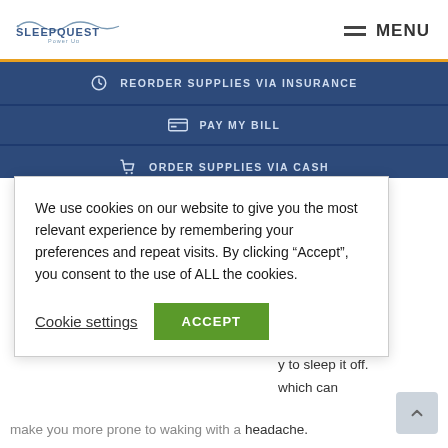[Figure (logo): SleepQuest logo with wave graphic and 'Power Up' tagline]
MENU
REORDER SUPPLIES VIA INSURANCE
PAY MY BILL
ORDER SUPPLIES VIA CASH
We use cookies on our website to give you the most relevant experience by remembering your preferences and repeat visits. By clicking "Accept", you consent to the use of ALL the cookies.
Cookie settings   ACCEPT
Sleep
y to sleep it off. which can make you more prone to waking with a headache.